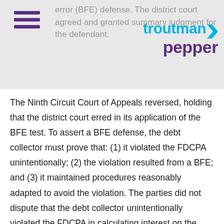error (BFE) defense. The district court agreed and granted summary judgment for the defendant.
[Figure (logo): Troutman Pepper law firm logo with teal 'troutman' text and purple 'pepper' text with arrow icon]
The Ninth Circuit Court of Appeals reversed, holding that the district court erred in its application of the BFE test. To assert a BFE defense, the debt collector must prove that: (1) it violated the FDCPA unintentionally; (2) the violation resulted from a BFE; and (3) it maintained procedures reasonably adapted to avoid the violation. The parties did not dispute that the debt collector unintentionally violated the FDCPA in calculating interest on the plaintiff's debt. Rather, the issue was whether the debt collector maintained